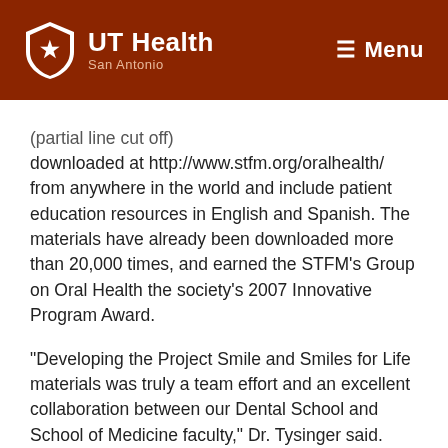UT Health San Antonio | Menu
downloaded at http://www.stfm.org/oralhealth/ from anywhere in the world and include patient education resources in English and Spanish. The materials have already been downloaded more than 20,000 times, and earned the STFM’s Group on Oral Health the society’s 2007 Innovative Program Award.
“Developing the Project Smile and Smiles for Life materials was truly a team effort and an excellent collaboration between our Dental School and School of Medicine faculty,” Dr. Tysinger said. “The idea for Smiles for Life emerged after a national